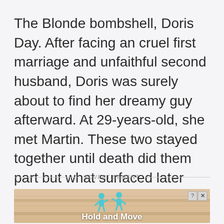The Blonde bombshell, Doris Day. After facing an cruel first marriage and unfaithful second husband, Doris was surely about to find her dreamy guy afterward. At 29-years-old, she met Martin. These two stayed together until death did them part but what surfaced later would shock you all.
ADVERTISEMENT
[Figure (illustration): Advertisement banner with sandy/wooden background texture, two teal cartoon figures, help and close buttons in top right corner, and bold white text 'Hold and Move' at the bottom]